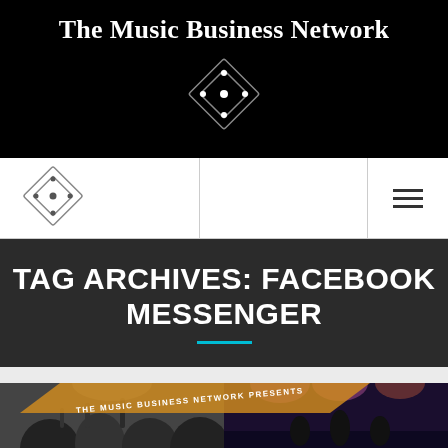The Music Business Network
[Figure (logo): Diamond/rhombus shaped logo with dot pattern, white on black background, large version in header]
[Figure (logo): Diamond/rhombus shaped logo with dot pattern, small version in navigation bar]
TAG ARCHIVES: FACEBOOK MESSENGER
[Figure (photo): Promotional image for 'The Music Business Network Presents Unplugged' event. Left half shows black and white concert crowd with hands raised and stage lights. Right half shows colorful stage performance with purple/pink lighting. Orange diagonal banner reads 'THE MUSIC BUSINESS NETWORK PRESENTS'. Bottom orange banner partially shows text 'UNPLUGGED'.]